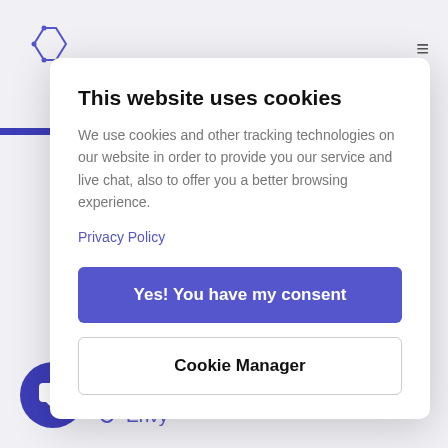This website uses cookies
We use cookies and other tracking technologies on our website in order to provide you our service and live chat, also to offer you a better browsing experience.
Privacy Policy
Yes! You have my consent
Cookie Manager
Broadcast
District
Envy